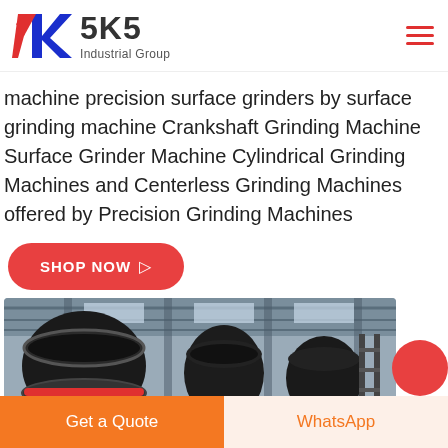[Figure (logo): SKS Industrial Group logo with red and blue K letter mark and brand name]
machine precision surface grinders by surface grinding machine Crankshaft Grinding Machine Surface Grinder Machine Cylindrical Grinding Machines and Centerless Grinding Machines offered by Precision Grinding Machines
SHOP NOW →
[Figure (photo): Industrial factory interior showing large grinding/crushing machines in a warehouse setting]
Get a Quote
WhatsApp